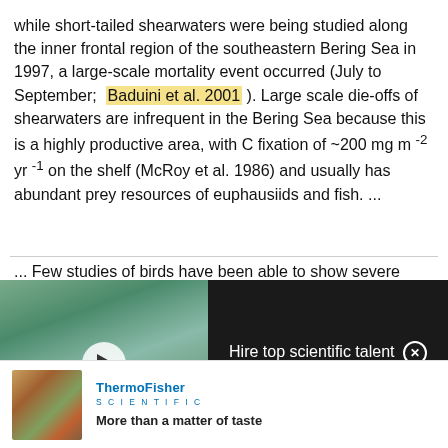while short-tailed shearwaters were being studied along the inner frontal region of the southeastern Bering Sea in 1997, a large-scale mortality event occurred (July to September; Baduini et al. 2001 [highlighted]). Large scale die-offs of shearwaters are infrequent in the Bering Sea because this is a highly productive area, with C fixation of ~200 mg m -2 yr -1 on the shelf (McRoy et al. 1986) and usually has abundant prey resources of euphausiids and fish. ...
... Few studies of birds have been able to show severe nutritional stress in a natural setting (Owen & Cook 1977, Jenni-Eiermann & Schifferli 1989, Fournier & Hines 1994,
[Figure (photo): ResearchGate advertisement banner showing scientists in a lab with text 'Hire top scientific talent with ResearchGate' and a play button overlay on the video thumbnail.]
[Figure (photo): Thermo Fisher Scientific advertisement showing food image on the left, Thermo Fisher Scientific logo and tagline 'More than a matter of taste'.]